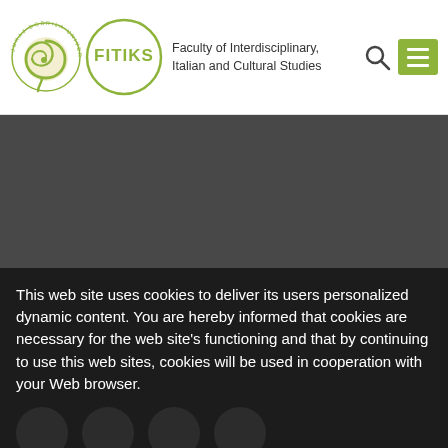[Figure (logo): Juraj Dobrila University of Pula spiral logo and FITIKS (Faculty of Interdisciplinary, Italian and Cultural Studies) circular logo with navigation icons]
Faculty of Interdisciplinary, Italian and Cultural Studies
[Figure (photo): Dark gray banner image area]
This web site uses cookies to deliver its users personalized dynamic content. You are hereby informed that cookies are necessary for the web site's functioning and that by continuing to use this web sites, cookies will be used in cooperation with your Web browser.
I agree